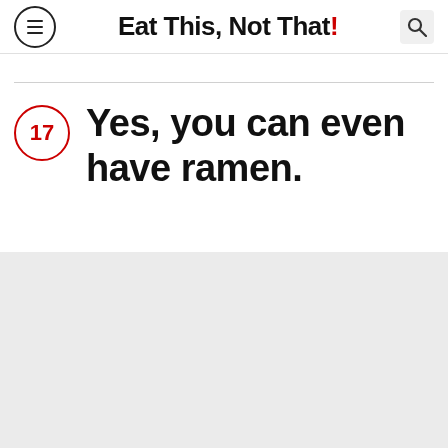Eat This, Not That!
17 Yes, you can even have ramen.
[Figure (photo): Light gray placeholder image area at the bottom of the page]